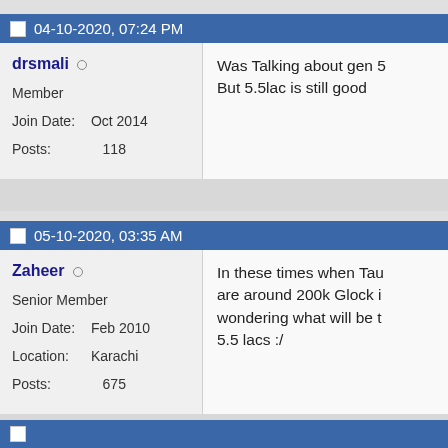04-10-2020, 07:24 PM
drsmali
Member
Join Date: Oct 2014
Posts: 118
Was Talking about gen 5
But 5.5lac is still good
05-10-2020, 03:35 AM
Zaheer
Senior Member
Join Date: Feb 2010
Location: Karachi
Posts: 675
In these times when Tau are around 200k Glock i wondering what will be t 5.5 lacs :/